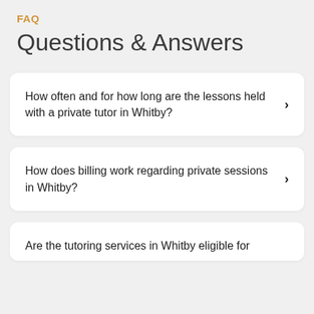FAQ
Questions & Answers
How often and for how long are the lessons held with a private tutor in Whitby?
How does billing work regarding private sessions in Whitby?
Are the tutoring services in Whitby eligible for